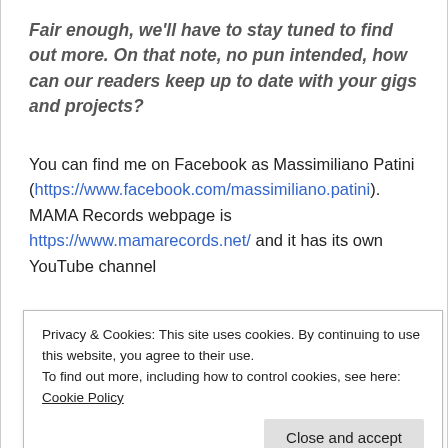Fair enough, we'll have to stay tuned to find out more. On that note, no pun intended, how can our readers keep up to date with your gigs and projects?
You can find me on Facebook as Massimiliano Patini (https://www.facebook.com/massimiliano.patini). MAMA Records webpage is https://www.mamarecords.net/ and it has its own YouTube channel
Privacy & Cookies: This site uses cookies. By continuing to use this website, you agree to their use.
To find out more, including how to control cookies, see here: Cookie Policy
Close and accept
(yet!)